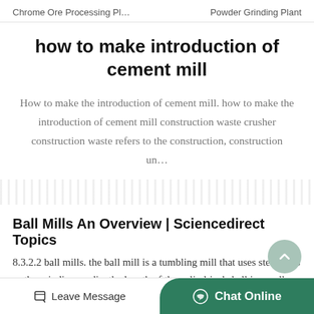Chrome Ore Processing Pl…    Powder Grinding Plant
how to make introduction of cement mill
How to make the introduction of cement mill. how to make the introduction of cement mill construction waste crusher construction waste refers to the construction, construction un…
Ball Mills An Overview | Sciencedirect Topics
8.3.2.2 ball mills. the ball mill is a tumbling mill that uses steel balls as the grinding media. the length of the cylindrical shell is usually 1–1.5 times the shell diameter ( figure 8.11). the feed can …
Leave Message    Chat Online